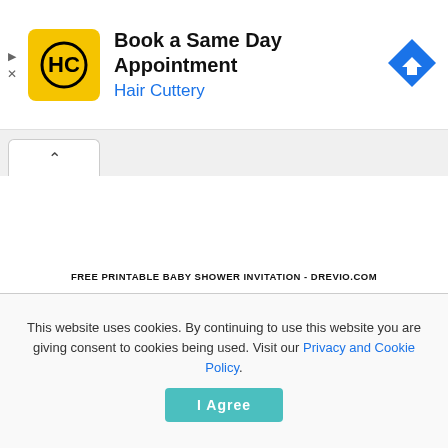[Figure (screenshot): Hair Cuttery ad banner with yellow HC logo, title 'Book a Same Day Appointment', subtitle 'Hair Cuttery' in blue, and a blue diamond navigation arrow icon on the right.]
Book a Same Day Appointment
Hair Cuttery
FREE PRINTABLE BABY SHOWER INVITATION - DREVIO.COM
This website uses cookies. By continuing to use this website you are giving consent to cookies being used. Visit our Privacy and Cookie Policy.